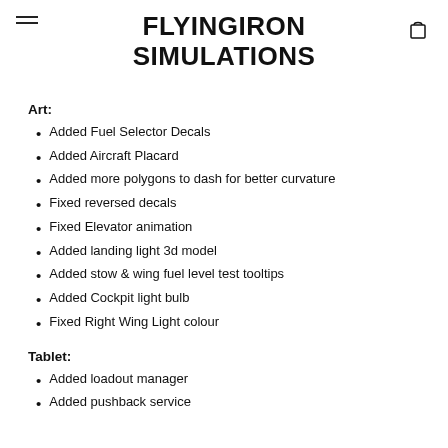FLYINGIRON SIMULATIONS
Art:
Added Fuel Selector Decals
Added Aircraft Placard
Added more polygons to dash for better curvature
Fixed reversed decals
Fixed Elevator animation
Added landing light 3d model
Added stow & wing fuel level test tooltips
Added Cockpit light bulb
Fixed Right Wing Light colour
Tablet:
Added loadout manager
Added pushback service